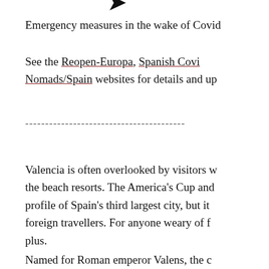[Figure (logo): Partial logo icon visible at top of page]
Emergency measures in the wake of Covid
See the Reopen-Europa, Spanish Covi... Nomads/Spain websites for details and up...
----------------------------------------
Valencia is often overlooked by visitors w... the beach resorts. The America's Cup and... profile of Spain's third largest city, but it... foreign travellers. For anyone weary of f... plus.
Named for Roman emperor Valens, the c...